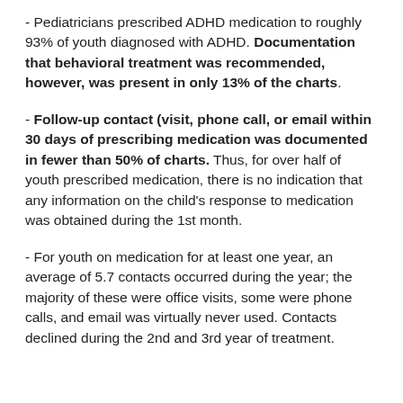- Pediatricians prescribed ADHD medication to roughly 93% of youth diagnosed with ADHD. Documentation that behavioral treatment was recommended, however, was present in only 13% of the charts.
- Follow-up contact (visit, phone call, or email within 30 days of prescribing medication was documented in fewer than 50% of charts. Thus, for over half of youth prescribed medication, there is no indication that any information on the child's response to medication was obtained during the 1st month.
- For youth on medication for at least one year, an average of 5.7 contacts occurred during the year; the majority of these were office visits, some were phone calls, and email was virtually never used. Contacts declined during the 2nd and 3rd year of treatment.